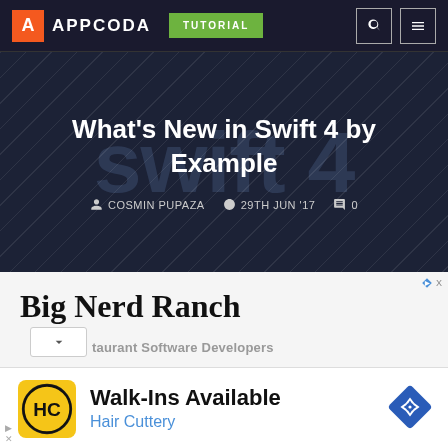APPCODA — TUTORIAL — navigation bar
What's New in Swift 4 by Example
COSMIN PUPAZA  29TH JUN '17  0
[Figure (screenshot): Advertisement banner showing Big Nerd Ranch text with partial text below and chevron button]
[Figure (screenshot): Advertisement for Hair Cuttery: Walk-Ins Available with HC logo and navigation diamond icon]